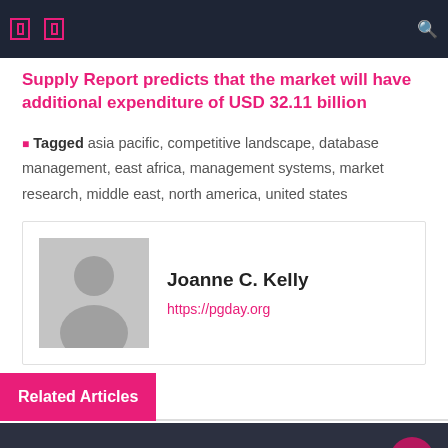Supply Report predicts that the market will have additional expenditure of USD 32.11 billion
Tagged asia pacific, competitive landscape, database management, east africa, management systems, market research, middle east, north america, united states
Joanne C. Kelly
https://pgday.org
Related Articles